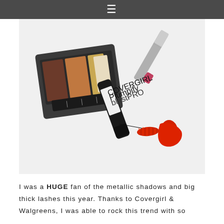≡
[Figure (photo): Makeup products on a white surface: an eyeshadow palette with brown, orange, gold, and cream shades; a red lipstick with silver cap; and a CoverGirl Plumpify BlastPRO mascara with red wand and cap open.]
I was a HUGE fan of the metallic shadows and big thick lashes this year. Thanks to Covergirl & Walgreens, I was able to rock this trend with so